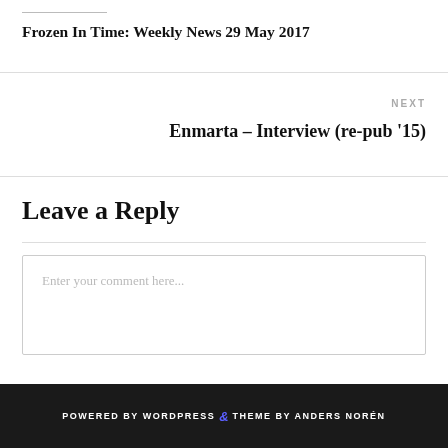Frozen In Time: Weekly News 29 May 2017
NEXT
Enmarta – Interview (re-pub '15)
Leave a Reply
Enter your comment here...
POWERED BY WORDPRESS & THEME BY ANDERS NORÉN